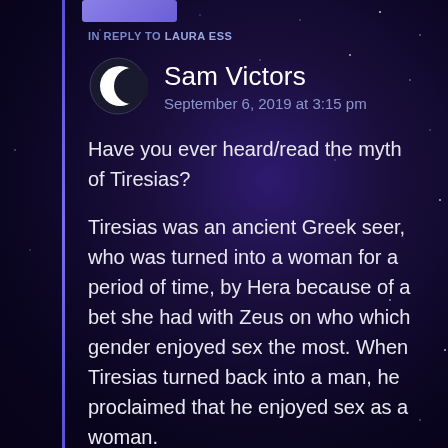IN REPLY TO LAURA ESS
Sam Victors
September 6, 2019 at 3:15 pm
Have you ever heard/read the myth of Tiresias?

Tiresias was an ancient Greek seer, who was turned into a woman for a period of time, by Hera because of a bet she had with Zeus on who which gender enjoyed sex the most. When Tiresias turned back into a man, he proclaimed that he enjoyed sex as a woman.